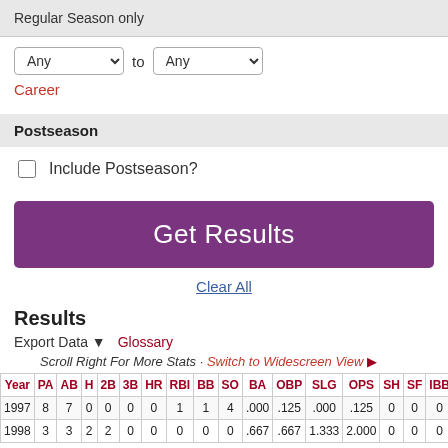Regular Season only
Any to Any
Career
Postseason
Include Postseason?
Get Results
Clear All
Results
Export Data ▼   Glossary
Scroll Right For More Stats · Switch to Widescreen View ▶
| Year | PA | AB | H | 2B | 3B | HR | RBI | BB | SO | BA | OBP | SLG | OPS | SH | SF | IBB |
| --- | --- | --- | --- | --- | --- | --- | --- | --- | --- | --- | --- | --- | --- | --- | --- | --- |
| 1997 | 8 | 7 | 0 | 0 | 0 | 0 | 1 | 1 | 4 | .000 | .125 | .000 | .125 | 0 | 0 | 0 |
| 1998 | 3 | 3 | 2 | 2 | 0 | 0 | 0 | 0 | 0 | .667 | .667 | 1.333 | 2.000 | 0 | 0 | 0 |